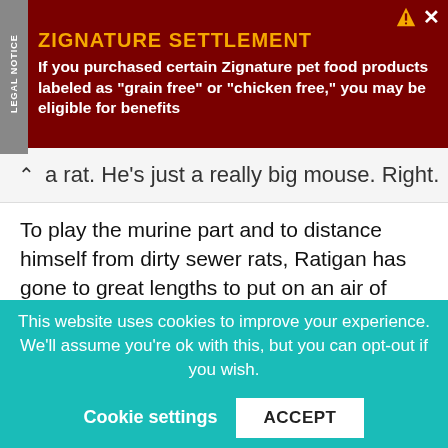[Figure (infographic): Advertisement banner for Zignature Settlement with dark red background, 'LEGAL NOTICE' tab on left side rotated vertically, orange bold title 'ZIGNATURE SETTLEMENT', and white bold text: 'If you purchased certain Zignature pet food products labeled as "grain free" or "chicken free," you may be eligible for benefits']
a rat. He's just a really big mouse. Right.
To play the murine part and to distance himself from dirty sewer rats, Ratigan has gone to great lengths to put on an air of sophistication akin to the high society of the time. His lair is opulently decorated, filled with champagne, jewels, mirrors, and suspiciously pink curtains. He is a professor (of what, I'm keen to know), plays the harp (I'm also interesting in knowing the story behind that), wears tuxedos and top hats and smokes cigarettes from slimline cigarette holders. He even wears
This website uses cookies to improve your experience. We'll assume you're ok with this, but you can opt-out if you wish. Cookie settings ACCEPT